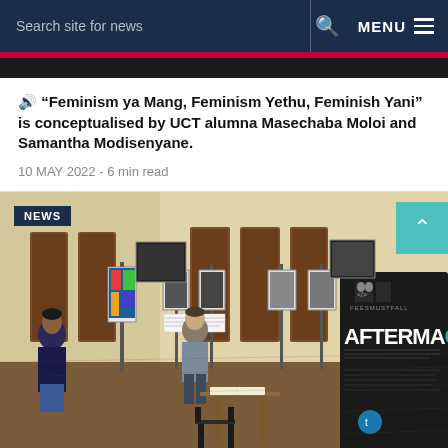Search site for news  🔍  MENU
🔊 “Feminism ya Mang, Feminism Yethu, Feminish Yani” is conceptualised by UCT alumna Masechaba Moloi and Samantha Modisenyane.
10 MAY 2022 - 6 min read
[Figure (photo): Interior of an art exhibition gallery hall. Several people view artwork mounted on portable display panels arranged throughout the room. A banner on the right reads 'AFTERMATH' with 'FEES MUST FALL' branding. The room has wooden floors, high ceilings, and tall wooden doors. A small table and chair are visible in the foreground.]